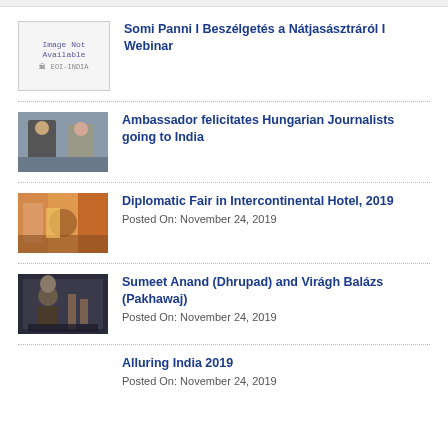[Figure (other): Image Not Available placeholder with EOI-India logo]
Somi Panni I Beszélgetés a Nátjasásztráról I Webinar
[Figure (photo): Photo of two people, Ambassador with Hungarian Journalist]
Ambassador felicitates Hungarian Journalists going to India
[Figure (photo): Photo from Diplomatic Fair in Intercontinental Hotel 2019]
Diplomatic Fair in Intercontinental Hotel, 2019
Posted On: November 24, 2019
[Figure (photo): Photo of Sumeet Anand performing Dhrupad with Virágh Balázs on Pakhawaj]
Sumeet Anand (Dhrupad) and Virágh Balázs (Pakhawaj)
Posted On: November 24, 2019
Alluring India 2019
Posted On: November 24, 2019